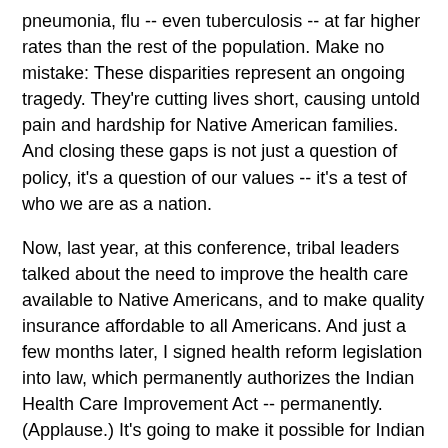pneumonia, flu -- even tuberculosis -- at far higher rates than the rest of the population. Make no mistake: These disparities represent an ongoing tragedy. They're cutting lives short, causing untold pain and hardship for Native American families. And closing these gaps is not just a question of policy, it's a question of our values -- it's a test of who we are as a nation.
Now, last year, at this conference, tribal leaders talked about the need to improve the health care available to Native Americans, and to make quality insurance affordable to all Americans. And just a few months later, I signed health reform legislation into law, which permanently authorizes the Indian Health Care Improvement Act -- permanently. (Applause.) It's going to make it possible for Indian tribes and tribal organizations to purchase health care for their employees, while making affordable coverage available to everybody, including those who use the Indian Health Service -- that's most American Indians and native -- Alaska Natives. So it's going to make a huge difference.
Of course, there are few steps we can take that will make